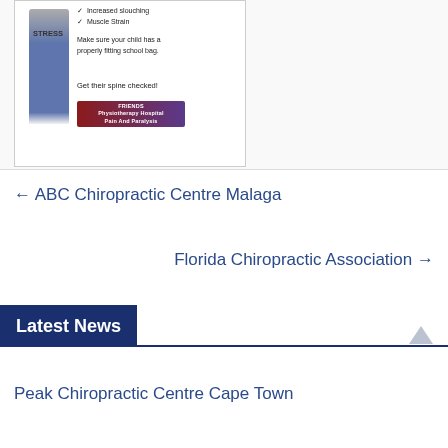[Figure (infographic): Infographic showing a child with a heavy school bag labeled STRESS, with checkmark list items 'Increased slouching' and 'Muscle Strain', text 'Make sure your child has a properly fitting school bag.' and 'Get their spine checked!' with a Friends Physiotherapy Hospital Pain And Paralysis banner.]
← ABC Chiropractic Centre Malaga
Florida Chiropractic Association →
Latest News
Peak Chiropractic Centre Cape Town